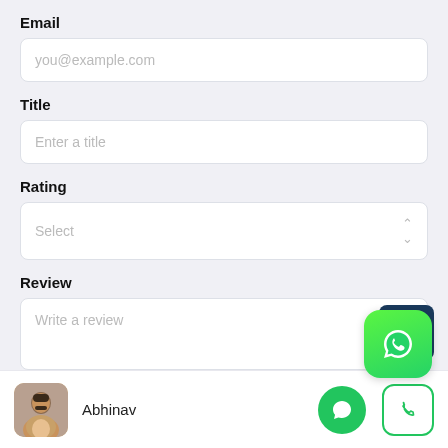Email
you@example.com
Title
Enter a title
Rating
Select
Review
Write a review
[Figure (logo): WhatsApp green icon floating button]
Abhinav
[Figure (infographic): Green chat bubble button and green-outlined phone button in bottom bar]